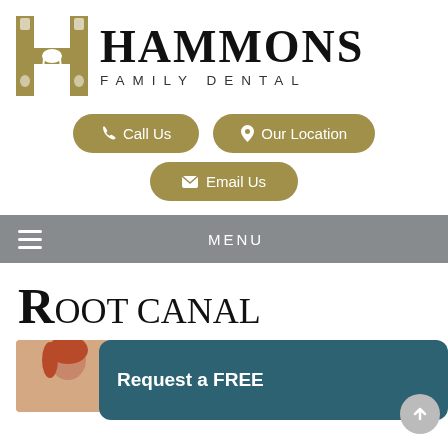[Figure (logo): Hammons Family Dental logo with stylized golden H containing tooth shape and bold serif HAMMONS text with FAMILY DENTAL below]
📞 Call Us
📍 Our Location
✉ Email Us
≡  MENU
Root Canal
Request a FREE